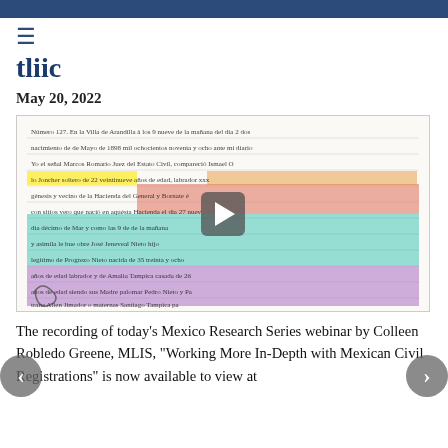≡
tliic
May 20, 2022
[Figure (photo): A page from a Mexican civil registration document with handwritten Spanish text. Various lines are highlighted in yellow, red/orange, teal/green, orange, and purple. A video play button overlay appears in the center.]
The recording of today's Mexico Research Series webinar by Colleen Robledo Greene, MLIS, "Working More In-Depth with Mexican Civil Registrations" is now available to view at